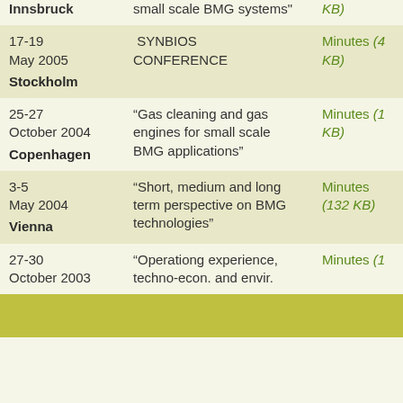| Date / Location | Topic | Link |
| --- | --- | --- |
| Innsbruck | small scale BMG systems" | KB) |
| 17-19 May 2005
Stockholm | SYNBIOS CONFERENCE | Minutes (4 KB) |
| 25-27 October 2004
Copenhagen | "Gas cleaning and gas engines for small scale BMG applications" | Minutes (1 KB) |
| 3-5 May 2004
Vienna | "Short, medium and long term perspective on BMG technologies" | Minutes (132 KB) |
| 27-30 October 2003 | "Operationg experience, techno-econ. and envir. | Minutes (1 |